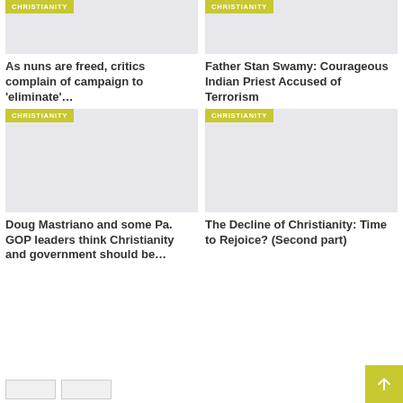[Figure (other): Article card image placeholder with CHRISTIANITY tag - top left]
As nuns are freed, critics complain of campaign to 'eliminate'…
[Figure (other): Article card image placeholder with CHRISTIANITY tag - top right]
Father Stan Swamy: Courageous Indian Priest Accused of Terrorism
[Figure (other): Article card image placeholder with CHRISTIANITY tag - bottom left]
Doug Mastriano and some Pa. GOP leaders think Christianity and government should be…
[Figure (other): Article card image placeholder with CHRISTIANITY tag - bottom right]
The Decline of Christianity: Time to Rejoice? (Second part)